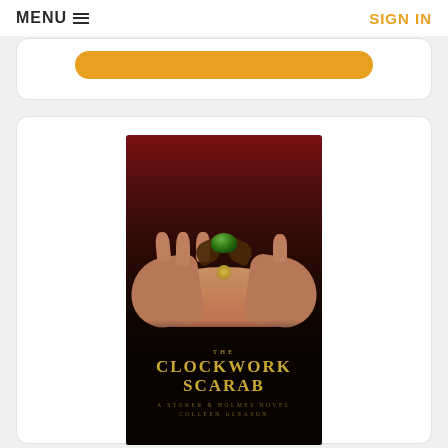MENU ☰    SIGN IN
[Figure (illustration): Book cover of 'The Clockwork Scarab: A Stoker & Holmes Novel' by Colleen Gleason. Shows two hands cupping a mechanical scarab beetle. Dark atmospheric background transitioning from deep red at top to near-black at bottom. Gold serif title text reads 'The Clockwork Scarab' with subtitle 'A Stoker & Holmes Novel' and author name 'Colleen Gleason'.]